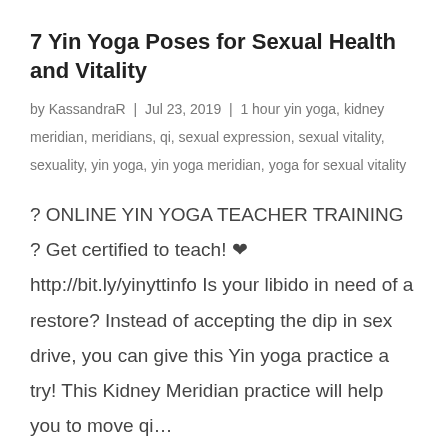7 Yin Yoga Poses for Sexual Health and Vitality
by KassandraR | Jul 23, 2019 | 1 hour yin yoga, kidney meridian, meridians, qi, sexual expression, sexual vitality, sexuality, yin yoga, yin yoga meridian, yoga for sexual vitality
? ONLINE YIN YOGA TEACHER TRAINING ? Get certified to teach! ❤ http://bit.ly/yinyttinfo Is your libido in need of a restore? Instead of accepting the dip in sex drive, you can give this Yin yoga practice a try! This Kidney Meridian practice will help you to move qi…